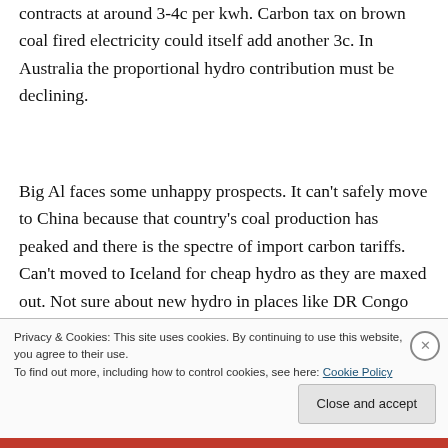contracts at around 3-4c per kwh. Carbon tax on brown coal fired electricity could itself add another 3c. In Australia the proportional hydro contribution must be declining.
Big Al faces some unhappy prospects. It can't safely move to China because that country's coal production has peaked and there is the spectre of import carbon tariffs. Can't moved to Iceland for cheap hydro as they are maxed out. Not sure about new hydro in places like DR Congo and Quebec.
Privacy & Cookies: This site uses cookies. By continuing to use this website, you agree to their use.
To find out more, including how to control cookies, see here: Cookie Policy
Close and accept